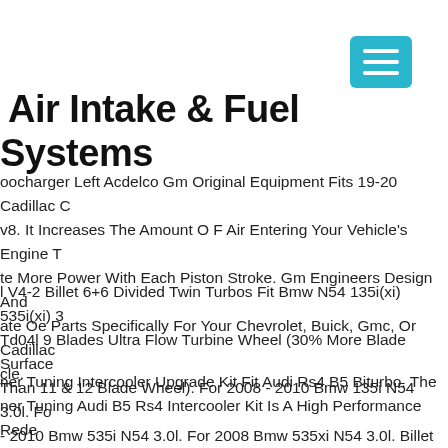[Figure (other): Hamburger menu button icon, teal/cyan colored square with three white horizontal lines]
Air Intake & Fuel Systems
oocharger Left Acdelco Gm Original Equipment Fits 19-20 Cadillac C v8. It Increases The Amount O F Air Entering Your Vehicle's Engine T te More Power With Each Piston Stroke. Gm Engineers Design And ate Oe Parts Specifically For Your Chevrolet, Buick, Gmc, Or Cadillac cle.
l V4-2 Billet 6+6 Divided Twin Turbos Fit Bmw N54 135i(xi) 535i(xi) 3 Td04l 9 Blades Ultra Flow Turbine Wheel (30% More Blade Surface Than 11 & 12 Blade Wheel). For 2008 - 2010 Bmw 135i N54 3.0l. Fo - 2010 Bmw 535i N54 3.0l. For 2008 Bmw 535xi N54 3.0l. Billet 6+6 e Ultra Flow Billet Compressor Wheel.
ner Tuning Intercooler Upgrade Kit Fit Audi Rs4 B5 Biturbo. The ner Tuning Audi B5 Rs4 Intercooler Kit Is A High Performance Rede he Original Audi Oem Intercooler Designed Specifically For The B5